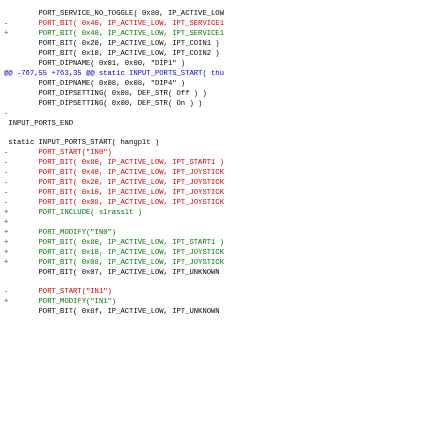Diff/patch code showing changes to INPUT_PORTS definitions for arcade game drivers (thunderx, hangplt) in MAME source code